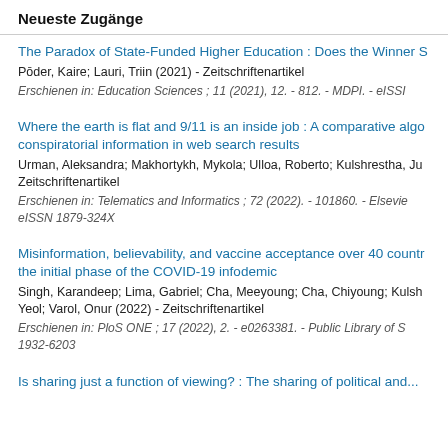Neueste Zugänge
The Paradox of State-Funded Higher Education : Does the Winner S
Pōder, Kaire; Lauri, Triin (2021) - Zeitschriftenartikel
Erschienen in: Education Sciences ; 11 (2021), 12. - 812. - MDPI. - eISSN
Where the earth is flat and 9/11 is an inside job : A comparative algo conspiratorial information in web search results
Urman, Aleksandra; Makhortykh, Mykola; Ulloa, Roberto; Kulshrestha, Ju Zeitschriftenartikel
Erschienen in: Telematics and Informatics ; 72 (2022). - 101860. - Elsevie eISSN 1879-324X
Misinformation, believability, and vaccine acceptance over 40 countr the initial phase of the COVID-19 infodemic
Singh, Karandeep; Lima, Gabriel; Cha, Meeyoung; Cha, Chiyoung; Kulsh Yeol; Varol, Onur (2022) - Zeitschriftenartikel
Erschienen in: PloS ONE ; 17 (2022), 2. - e0263381. - Public Library of S 1932-6203
Is sharing just a function of viewing? : The sharing of political and...